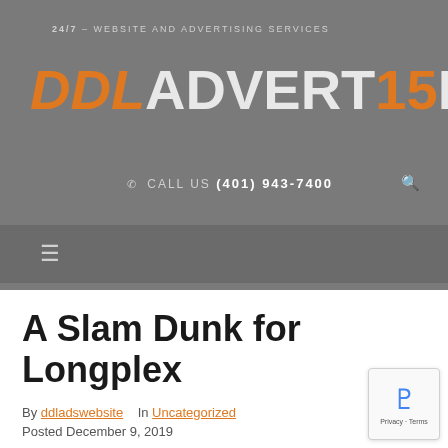24/7 – WEBSITE AND ADVERTISING SERVICES
[Figure (logo): DDL Advertising logo with '15' stylized in orange on grey background]
☎ CALL US (401) 943-7400
A Slam Dunk for Longplex
By ddladswebsite   In Uncategorized
Posted December 9, 2019